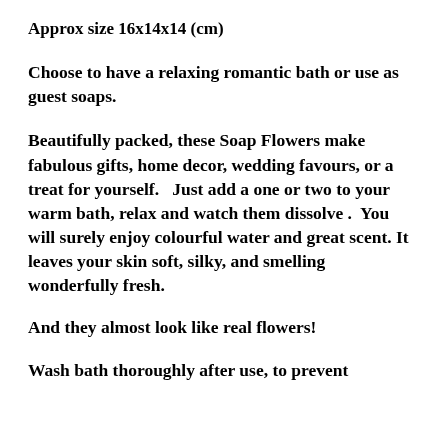Approx size 16x14x14 (cm)
Choose to have a relaxing romantic bath or use  as guest soaps.
Beautifully packed, these Soap Flowers make fabulous gifts, home decor, wedding favours, or a treat for yourself.   Just add a one or two to your warm bath, relax and watch them dissolve .  You will surely enjoy colourful water and great scent. It leaves your skin soft, silky, and smelling wonderfully fresh.
And they almost look like real flowers!
Wash bath thoroughly after use, to prevent